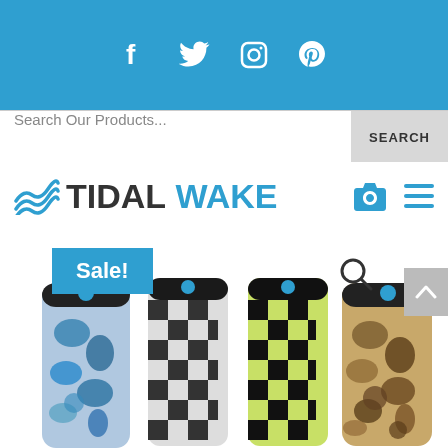[Figure (screenshot): Social media bar with Facebook, Twitter, Instagram, and Pinterest icons in white on blue background]
Search Our Products...
SEARCH
[Figure (logo): Tidal Wake logo with wave icon, TIDAL in dark and WAKE in blue, with cart and hamburger menu icons]
[Figure (photo): Sale badge and product photo showing four wakeboards with different patterns: blue camo, black/white checker, green/black checker, and brown camo]